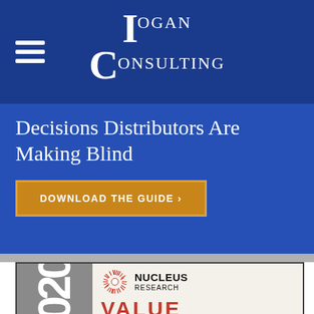Logan Consulting
Decisions Distributors Are Making Blind
DOWNLOAD THE GUIDE ›
[Figure (logo): Nucleus Research 2020 Value award logo with sun icon, grey left panel with '020' text rotated, and red 'VALUE' text on right panel]